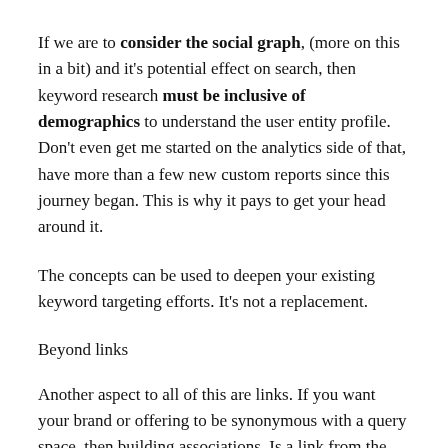If we are to consider the social graph, (more on this in a bit) and it's potential effect on search, then keyword research must be inclusive of demographics to understand the user entity profile. Don't even get me started on the analytics side of that, have more than a few new custom reports since this journey began. This is why it pays to get your head around it.
The concepts can be used to deepen your existing keyword targeting efforts. It's not a replacement.
Beyond links
Another aspect to all of this are links. If you want your brand or offering to be synonymous with a query space, then building associations. Is a link from the NYT gold? Sure. Why? Because of not only the equity (PageRank), but the authority as well. (trust).